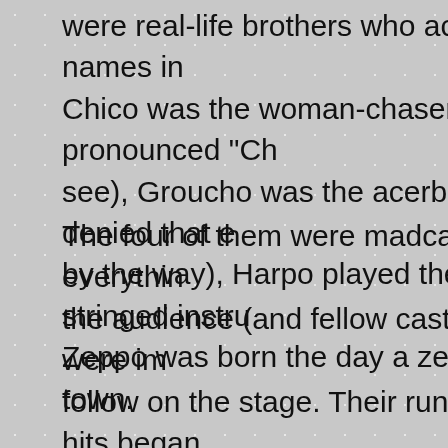were real-life brothers who acquired wacky names in... Chico was the woman-chaser (it was pronounced "Ch... see), Groucho was the acerbic one (he denied that e... by the way), Harpo played the famous stringed instru... Zeppo was born the day a zeppelin came to town.
The four of them were madcap, crazy, threw everythin... the audience (and fellow cast members), and were im... follow on the stage. Their run of Broadway hits began... She Is in 1924, and in 1929 they made their film debu... adaptation of their second show, The Cocoanuts (film... day in Astoria, Queens, while they appeared in yet an... Broadway production at night). After five Paramount f... moved to MGM (minus Zeppo), where they enjoyed g... office success but diminishing laughs and applause. B... 1940s, they were washed up as a team, although Gro...